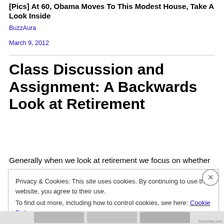[Pics] At 60, Obama Moves To This Modest House, Take A Look Inside
BuzzAura
March 9, 2012
Class Discussion and Assignment: A Backwards Look at Retirement
Generally when we look at retirement we focus on whether
Privacy & Cookies: This site uses cookies. By continuing to use this website, you agree to their use.
To find out more, including how to control cookies, see here: Cookie Policy
Close and accept